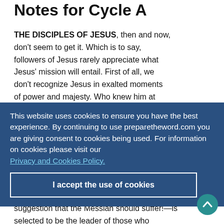Notes for Cycle A
THE DISCIPLES OF JESUS, then and now, don't seem to get it. Which is to say, followers of Jesus rarely appreciate what Jesus' mission will entail. First of all, we don't recognize Jesus in exalted moments of power and majesty. Who knew him at first glance after the Resurrection, at the Transfiguration—or after a little stroll across the lake? Second, we don't recognize him in the hour of suffering, when he's too poor and forsaken to resemble the Son of God. Yet Peter, who had as much trouble as anyone recognizing who Jesus was meant to be—see how flustered he is at the very suggestion that the Messiah should suffer!—is selected to be the leader of those who would be disciples in the future. Jesus has a
This website uses cookies to ensure you have the best experience. By continuing to use preparetheword.com you are giving consent to cookies being used. For information on cookies please visit our Privacy and Cookies Policy.
I accept the use of cookies